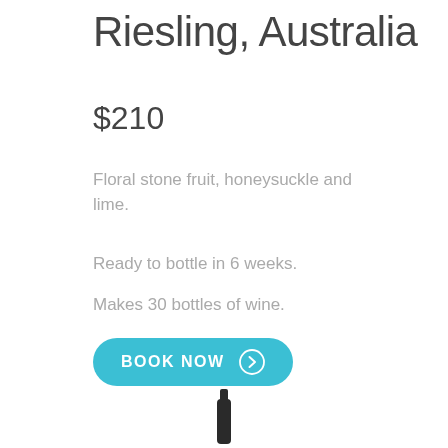Riesling, Australia
$210
Floral stone fruit, honeysuckle and lime.
Ready to bottle in 6 weeks.
Makes 30 bottles of wine.
BOOK NOW
Type: White | Sweetness: Off-Dry | Oak: No Oak | Body: Light-Medium
[Figure (photo): Bottom portion of a dark wine bottle]